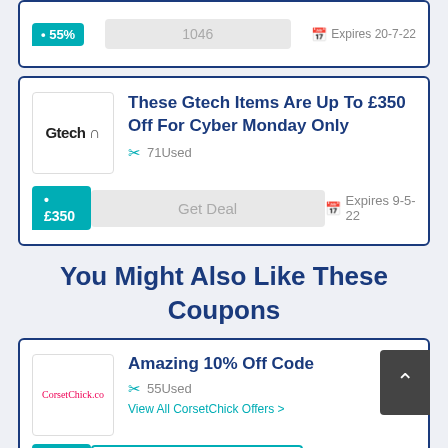55% | 1046 | Expires 20-7-22
These Gtech Items Are Up To £350 Off For Cyber Monday Only
71Used
£350
Get Deal
Expires 9-5-22
You Might Also Like These Coupons
Amazing 10% Off Code
55Used
View All CorsetChick Offers >
10%
Get Code
Expired 27-11-22